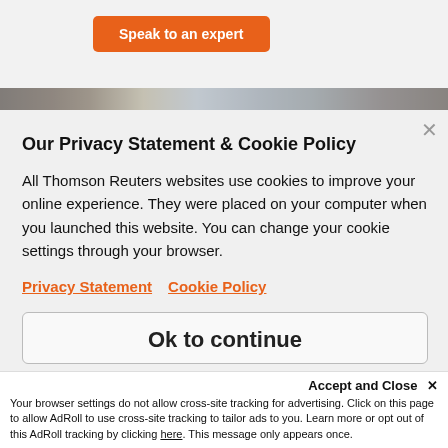[Figure (screenshot): Orange 'Speak to an expert' button on a light grey background]
[Figure (photo): Partial photo strip showing an interior/people scene]
Our Privacy Statement & Cookie Policy
All Thomson Reuters websites use cookies to improve your online experience. They were placed on your computer when you launched this website. You can change your cookie settings through your browser.
Privacy Statement   Cookie Policy
Ok to continue
Accept and Close ✕
Your browser settings do not allow cross-site tracking for advertising. Click on this page to allow AdRoll to use cross-site tracking to tailor ads to you. Learn more or opt out of this AdRoll tracking by clicking here. This message only appears once.